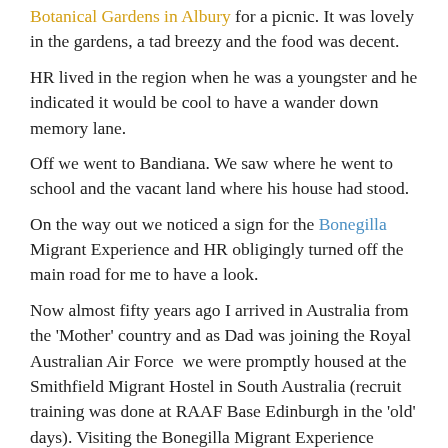Botanical Gardens in Albury for a picnic. It was lovely in the gardens, a tad breezy and the food was decent.
HR lived in the region when he was a youngster and he indicated it would be cool to have a wander down memory lane.
Off we went to Bandiana. We saw where he went to school and the vacant land where his house had stood.
On the way out we noticed a sign for the Bonegilla Migrant Experience and HR obligingly turned off the main road for me to have a look.
Now almost fifty years ago I arrived in Australia from the 'Mother' country and as Dad was joining the Royal Australian Air Force  we were promptly housed at the Smithfield Migrant Hostel in South Australia (recruit training was done at RAAF Base Edinburgh in the 'old' days). Visiting the Bonegilla Migrant Experience reminded me of the months we spent in that drab establishment before we were sent to Norlane Migrant Hostel when Dad had to go to Victoria for his category training after